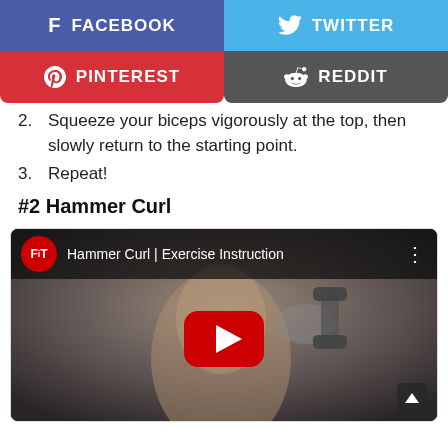[Figure (screenshot): Social share buttons: Facebook (blue-purple), Twitter (blue), Pinterest (red), Reddit (dark gray)]
2. Squeeze your biceps vigorously at the top, then slowly return to the starting point.
3. Repeat!
#2 Hammer Curl
[Figure (screenshot): YouTube video thumbnail for 'Hammer Curl | Exercise Instruction' by FIT channel, showing a muscular man holding a dumbbell, with a YouTube play button overlay]